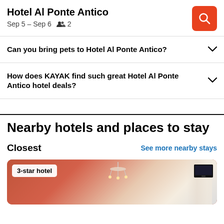Hotel Al Ponte Antico
Sep 5 – Sep 6   👥 2
Can you bring pets to Hotel Al Ponte Antico?
How does KAYAK find such great Hotel Al Ponte Antico hotel deals?
Nearby hotels and places to stay
Closest
See more nearby stays
[Figure (photo): Hotel room photo with red walls, chandelier, curtains, and TV. Badge reads '3-star hotel'.]